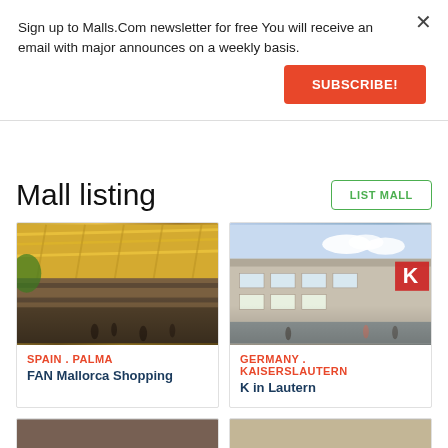Sign up to Malls.Com newsletter for freeYou will receive an email with major announces on a weekly basis.
SUBSCRIBE!
Mall listing
LIST MALL
[Figure (photo): Interior of FAN Mallorca Shopping mall showing golden lattice roof structure, multiple floors with shoppers]
SPAIN . PALMA
FAN Mallorca Shopping
[Figure (photo): Exterior of K in Lautern shopping center in Kaiserslautern, Germany showing modern facade with red logo]
GERMANY . KAISERSLAUTERN
K in Lautern
[Figure (photo): Partial view of another mall listing card at bottom left]
[Figure (photo): Partial view of another mall listing card at bottom right]